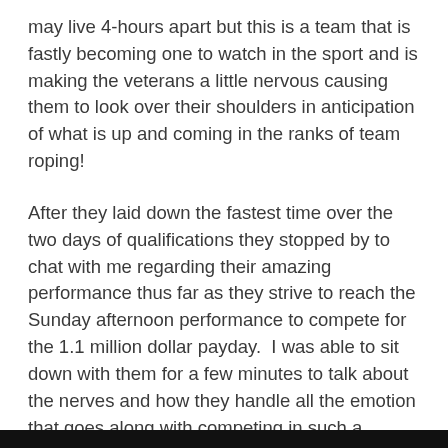may live 4-hours apart but this is a team that is fastly becoming one to watch in the sport and is making the veterans a little nervous causing them to look over their shoulders in anticipation of what is up and coming in the ranks of team roping!
After they laid down the fastest time over the two days of qualifications they stopped by to chat with me regarding their amazing performance thus far as they strive to reach the Sunday afternoon performance to compete for the 1.1 million dollar payday.  I was able to sit down with them for a few minutes to talk about the nerves and how they handle all the emotion that goes along with competing in such a prestigious event like the RFD-TV's The American.  See what they had to say in my sit down interview with them inside the iconic Cowtown Coliseum!